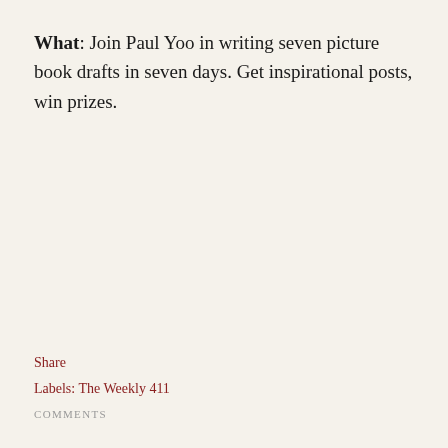What: Join Paul Yoo in writing seven picture book drafts in seven days. Get inspirational posts, win prizes.
Share
Labels: The Weekly 411
COMMENTS